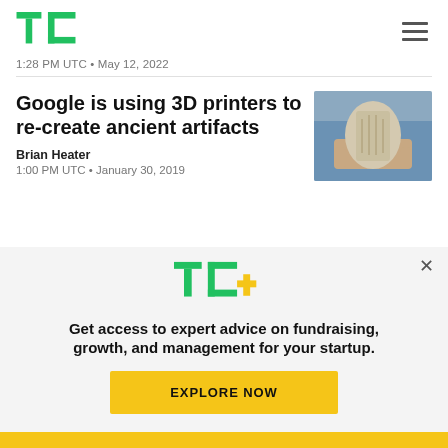TechCrunch logo and navigation
1:28 PM UTC • May 12, 2022
Google is using 3D printers to re-create ancient artifacts
Brian Heater
1:00 PM UTC • January 30, 2019
[Figure (photo): Person holding a 3D-printed artifact]
[Figure (logo): TC+ logo with green TC and yellow plus sign]
Get access to expert advice on fundraising, growth, and management for your startup.
EXPLORE NOW